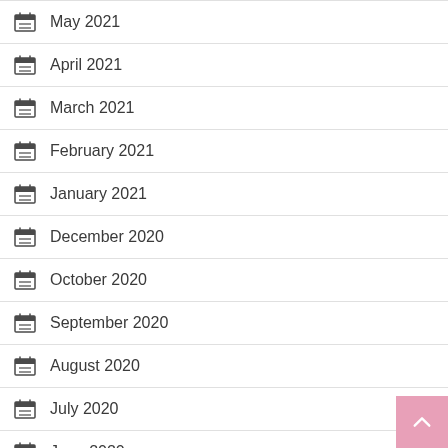May 2021
April 2021
March 2021
February 2021
January 2021
December 2020
October 2020
September 2020
August 2020
July 2020
June 2020
May 2020
April 2020